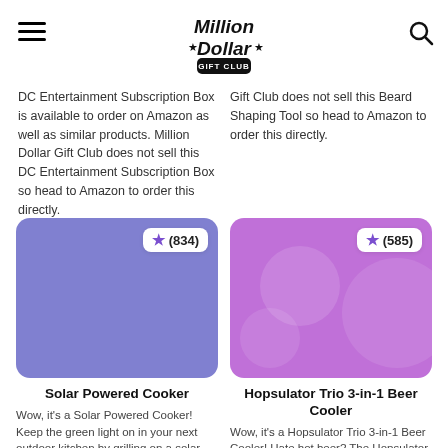Million Dollar Gift Club
DC Entertainment Subscription Box is available to order on Amazon as well as similar products. Million Dollar Gift Club does not sell this DC Entertainment Subscription Box so head to Amazon to order this directly.
Gift Club does not sell this Beard Shaping Tool so head to Amazon to order this directly.
[Figure (photo): Product card image for Solar Powered Cooker with purple/blue background and star rating badge showing (834)]
Solar Powered Cooker
Wow, it's a Solar Powered Cooker! Keep the green light on in your next outdoor kitchen by grilling on a solar
[Figure (photo): Product card image for Hopsulator Trio 3-in-1 Beer Cooler with purple background and decorative circles, star rating badge showing (585)]
Hopsulator Trio 3-in-1 Beer Cooler
Wow, it's a Hopsulator Trio 3-in-1 Beer Cooler! Hate hot beer? The Hopsulator TRiO is the world's first